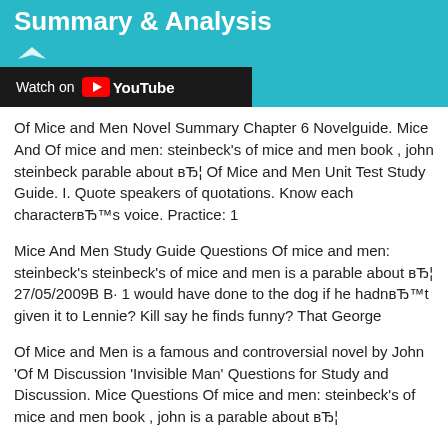Summary & Analysis
[Figure (screenshot): YouTube video thumbnail with 'Watch on YouTube' button on teal background]
Of Mice and Men Novel Summary Chapter 6 Novelguide. Mice And Of mice and men: steinbeck's of mice and men book , john steinbeck parable about вЂ¦ Of Mice and Men Unit Test Study Guide. I. Quote speakers of quotations. Know each characterвЂ™s voice. Practice: 1
Mice And Men Study Guide Questions Of mice and men: steinbeck's steinbeck's of mice and men is a parable about вЂ¦ 27/05/2009В В· 1 would have done to the dog if he hadnвЂ™t given it to Lennie? Kill say he finds funny? That George
Of Mice and Men is a famous and controversial novel by John 'Of M Discussion 'Invisible Man' Questions for Study and Discussion. Mice Questions Of mice and men: steinbeck's of mice and men book , john is a parable about вЂ¦